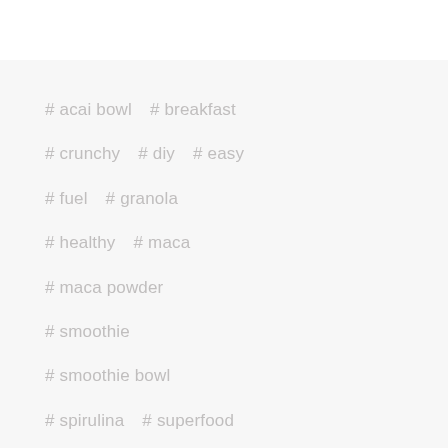# acai bowl    # breakfast
# crunchy    # diy    # easy
# fuel    # granola
# healthy    # maca
# maca powder
# smoothie
# smoothie bowl
# spirulina    # superfood
# Sweets